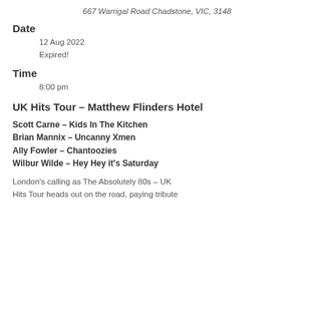667 Warrigal Road Chadstone, VIC, 3148
Date
12 Aug 2022
Expired!
Time
8:00 pm
UK Hits Tour – Matthew Flinders Hotel
Scott Carne – Kids In The Kitchen
Brian Mannix – Uncanny Xmen
Ally Fowler – Chantoozies
Wilbur Wilde – Hey Hey it's Saturday
London's calling as The Absolutely 80s – UK Hits Tour heads out on the road, paying tribute